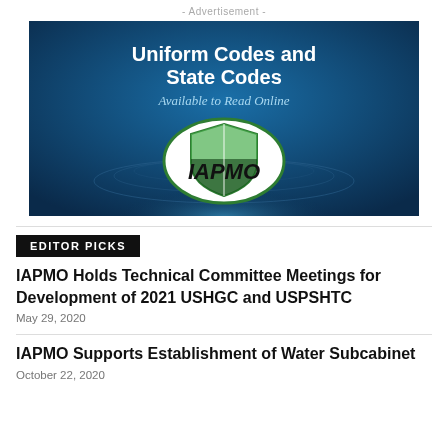- Advertisement -
[Figure (illustration): IAPMO advertisement banner showing 'Uniform Codes and State Codes Available to Read Online' with IAPMO shield logo on a blue background]
EDITOR PICKS
IAPMO Holds Technical Committee Meetings for Development of 2021 USHGC and USPSHTC
May 29, 2020
IAPMO Supports Establishment of Water Subcabinet
October 22, 2020